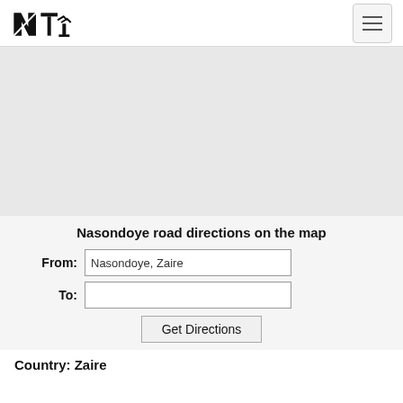NTI logo and navigation
[Figure (map): Map area showing Nasondoye road directions, light gray placeholder map]
Nasondoye road directions on the map
From: Nasondoye, Zaire
To:
Get Directions
Country: Zaire